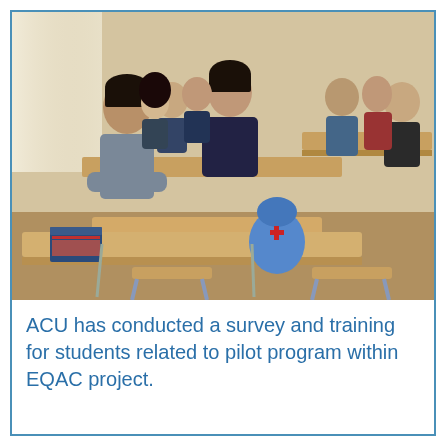[Figure (photo): Students sitting at wooden desks in a classroom, facing the camera. Several young men are visible in the foreground and background. A blue backpack with a Red Cross emblem is on a chair, and a book rests on a front desk.]
ACU has conducted a survey and training for students related to pilot program within EQAC project.